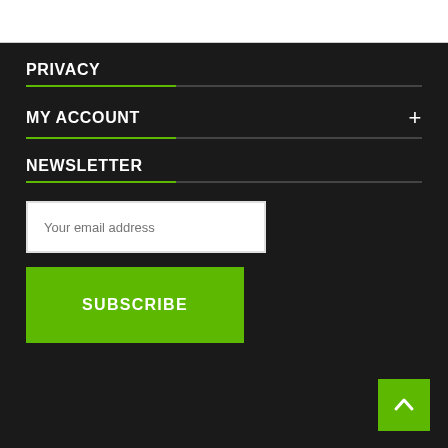PRIVACY
MY ACCOUNT
NEWSLETTER
Your email address
SUBSCRIBE